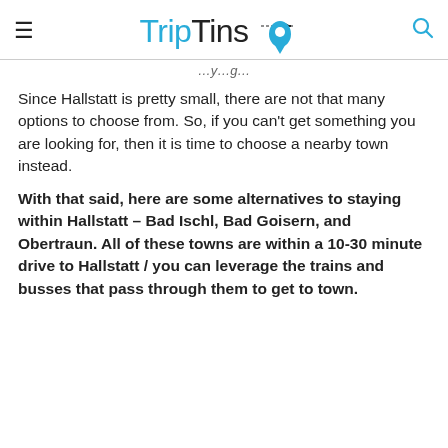TripTins
Since Hallstatt is pretty small, there are not that many options to choose from. So, if you can’t get something you are looking for, then it is time to choose a nearby town instead.
With that said, here are some alternatives to staying within Hallstatt – Bad Ischl, Bad Goisern, and Obertraun. All of these towns are within a 10-30 minute drive to Hallstatt / you can leverage the trains and busses that pass through them to get to town.